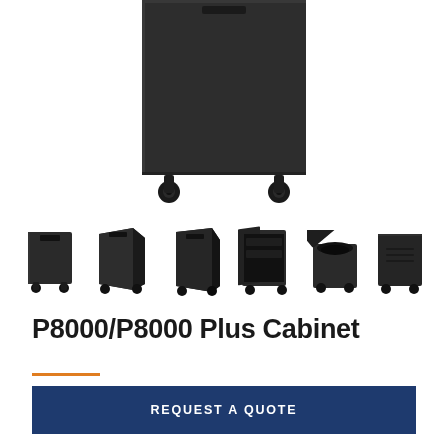[Figure (photo): Large black cabinet/shredder unit on casters, viewed from front-bottom angle showing the base and two wheels]
[Figure (photo): Row of 6 thumbnail images showing different views of the P8000/P8000 Plus Cabinet: front, angled, side, door-open, top-open, and rear views]
P8000/P8000 Plus Cabinet
[Figure (other): Orange horizontal rule / decorative line below title]
REQUEST A QUOTE